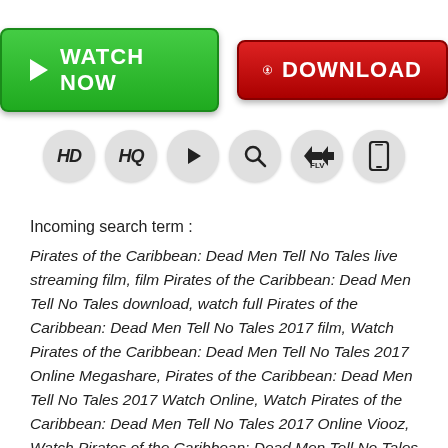[Figure (infographic): Green WATCH NOW button with play icon and red DOWNLOAD button with download icon]
[Figure (infographic): Row of six icon circles: HD, HQ, play, search/magnify, FLV, mobile phone]
Incoming search term :
Pirates of the Caribbean: Dead Men Tell No Tales live streaming film, film Pirates of the Caribbean: Dead Men Tell No Tales download, watch full Pirates of the Caribbean: Dead Men Tell No Tales 2017 film, Watch Pirates of the Caribbean: Dead Men Tell No Tales 2017 Online Megashare, Pirates of the Caribbean: Dead Men Tell No Tales 2017 Watch Online, Watch Pirates of the Caribbean: Dead Men Tell No Tales 2017 Online Viooz, Watch Pirates of the Caribbean: Dead Men Tell No Tales 2017 For Free online, film Pirates of the Caribbean: Dead Men Tell No Tales 2017, streaming film Pirates of the